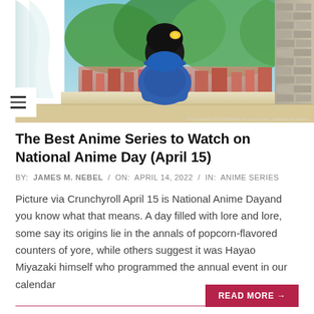[Figure (photo): Anime character seen from behind, sitting at a window overlooking a colorful hillside town, wearing a blue outfit with black hair and yellow accessory. Curtains on the left, brick wall on the right. Credit text at bottom right.]
The Best Anime Series to Watch on National Anime Day (April 15)
BY:  JAMES M. NEBEL  /  ON:  APRIL 14, 2022  /  IN:  ANIME SERIES
Picture via Crunchyroll April 15 is National Anime Dayand you know what that means. A day filled with lore and lore, some say its origins lie in the annals of popcorn-flavored counters of yore, while others suggest it was Hayao Miyazaki himself who programmed the annual event in our calendar
READ MORE →